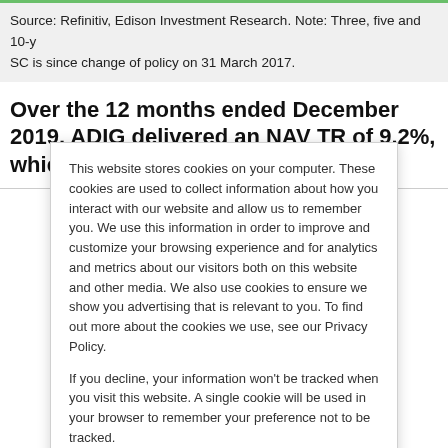Source: Refinitiv, Edison Investment Research. Note: Three, five and 10-y SC is since change of policy on 31 March 2017.
Over the 12 months ended December 2019, ADIG delivered an NAV TR of 9.2%, which compares with 6.2% for its
This website stores cookies on your computer. These cookies are used to collect information about how you interact with our website and allow us to remember you. We use this information in order to improve and customize your browsing experience and for analytics and metrics about our visitors both on this website and other media. We also use cookies to ensure we show you advertising that is relevant to you. To find out more about the cookies we use, see our Privacy Policy.

If you decline, your information won't be tracked when you visit this website. A single cookie will be used in your browser to remember your preference not to be tracked.
Accept
Decline